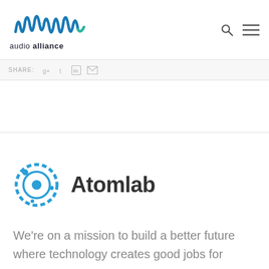audio alliance
SHARE:
[Figure (logo): Atomlab logo: blue circular atom icon with orbiting dots alongside the bold text 'Atomlab']
We're on a mission to build a better future where technology creates good jobs for everyone.